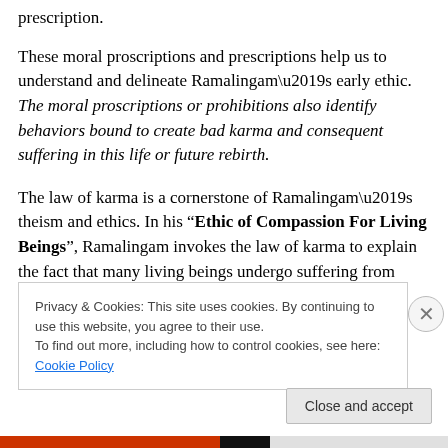prescription.
These moral proscriptions and prescriptions help us to understand and delineate Ramalingam’s early ethic. The moral proscriptions or prohibitions also identify behaviors bound to create bad karma and consequent suffering in this life or future rebirth.
The law of karma is a cornerstone of Ramalingam’s theism and ethics. In his “Ethic of Compassion For Living Beings”, Ramalingam invokes the law of karma to explain the fact that many living beings undergo suffering from
Privacy & Cookies: This site uses cookies. By continuing to use this website, you agree to their use.
To find out more, including how to control cookies, see here: Cookie Policy
Close and accept